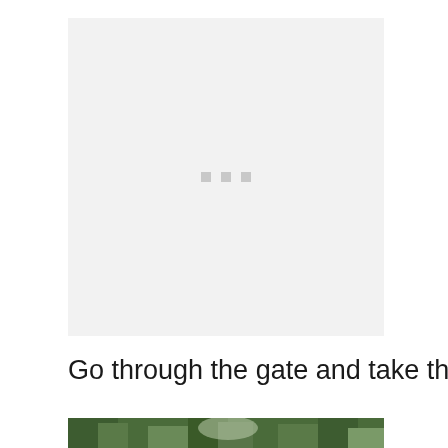[Figure (photo): Large blank/loading image placeholder with three small grey squares in the center, set against a light grey background]
Go through the gate and take the path up the hill. It’s fairly steep.
[Figure (photo): Partial photograph showing green foliage/trees at the bottom of the page]